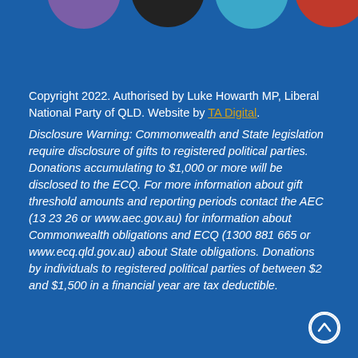[Figure (illustration): Partial circles visible at top of page: purple, black, teal/blue, red circles cropped at top edge]
Copyright 2022. Authorised by Luke Howarth MP, Liberal National Party of QLD. Website by TA Digital.
Disclosure Warning: Commonwealth and State legislation require disclosure of gifts to registered political parties. Donations accumulating to $1,000 or more will be disclosed to the ECQ. For more information about gift threshold amounts and reporting periods contact the AEC (13 23 26 or www.aec.gov.au) for information about Commonwealth obligations and ECQ (1300 881 665 or www.ecq.qld.gov.au) about State obligations. Donations by individuals to registered political parties of between $2 and $1,500 in a financial year are tax deductible.